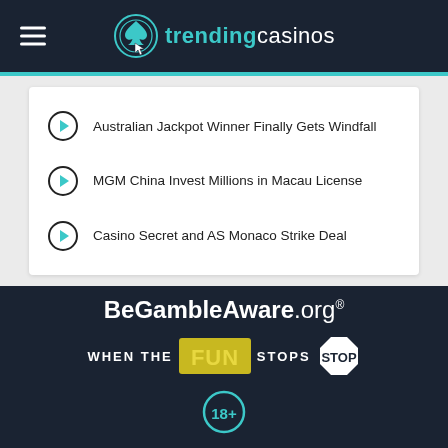trendingcasinos
Australian Jackpot Winner Finally Gets Windfall
MGM China Invest Millions in Macau License
Casino Secret and AS Monaco Strike Deal
[Figure (logo): BeGambleAware.org logo on dark background]
[Figure (infographic): WHEN THE FUN STOPS STOP responsible gambling message]
[Figure (logo): 18+ age restriction circle badge]